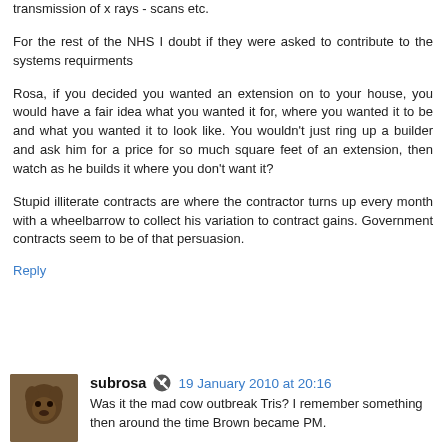transmission of x rays - scans etc.
For the rest of the NHS I doubt if they were asked to contribute to the systems requirments
Rosa, if you decided you wanted an extension on to your house, you would have a fair idea what you wanted it for, where you wanted it to be and what you wanted it to look like. You wouldn't just ring up a builder and ask him for a price for so much square feet of an extension, then watch as he builds it where you don't want it?
Stupid illiterate contracts are where the contractor turns up every month with a wheelbarrow to collect his variation to contract gains. Government contracts seem to be of that persuasion.
Reply
subrosa  19 January 2010 at 20:16
Was it the mad cow outbreak Tris? I remember something then around the time Brown became PM.